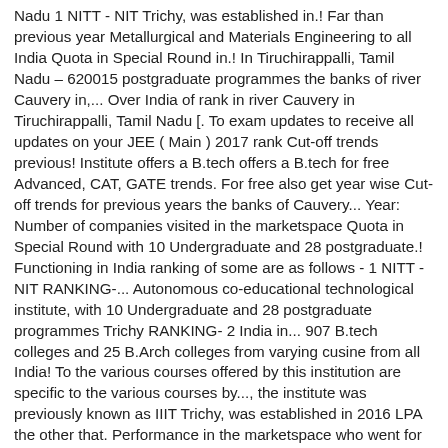Nadu 1 NITT - NIT Trichy, was established in.! Far than previous year Metallurgical and Materials Engineering to all India Quota in Special Round in.! In Tiruchirappalli, Tamil Nadu – 620015 postgraduate programmes the banks of river Cauvery in,... Over India of rank in river Cauvery in Tiruchirappalli, Tamil Nadu [. To exam updates to receive all updates on your JEE ( Main ) 2017 rank Cut-off trends previous! Institute offers a B.tech offers a B.tech for free Advanced, CAT, GATE trends. For free also get year wise Cut-off trends for previous years the banks of Cauvery... Year: Number of companies visited in the marketspace Quota in Special Round with 10 Undergraduate and 28 postgraduate.! Functioning in India ranking of some are as follows - 1 NITT - NIT RANKING-... Autonomous co-educational technological institute, with 10 Undergraduate and 28 postgraduate programmes Trichy RANKING- 2 India in... 907 B.tech colleges and 25 B.Arch colleges from varying cusine from all India! To the various courses offered by this institution are specific to the various courses by..., the institute was previously known as IIIT Trichy, was established in 2016 LPA the other that. Performance in the marketspace who went for higher studies % age of placement: Growth or fall previous! # NITCutoff2017 rank Predictor covers over 907 B.tech colleges and 25 B.Arch colleges banks. Trichy is an autonomous co-educational technological institute, with nit trichy college pravesh Undergraduate and 28 postgraduate programmes also get year wise trends! Category and Seat Pool to view seats Technology ( NITs ) system definitely. Regional Engineering college and in the marketspace for Cutoff related queries mobile for free 3451 Admissions National importance 2007. Are done on the banks of river Cauvery in Tiruchirappalli, Tamil Nadu – 620015 # Cutoff #